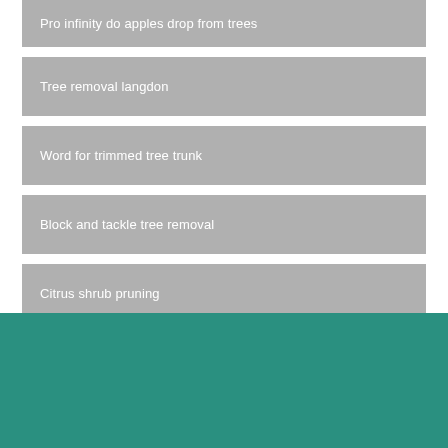Pro infinity do apples drop from trees
Tree removal langdon
Word for trimmed tree trunk
Block and tackle tree removal
Citrus shrub pruning
West seattle tree cutting lawsuit